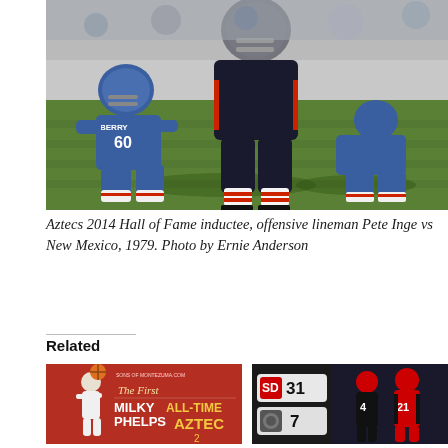[Figure (photo): Black and white/color football action photo: players on a grass field. Player with jersey number 60 (BERRY) visible in blue uniform, offensive lineman Pete Inge in dark uniform crouching over center. Green grass field background.]
Aztecs 2014 Hall of Fame inductee, offensive lineman Pete Inge vs New Mexico, 1979. Photo by Ernie Anderson
Related
[Figure (photo): Promotional graphic: 'MILKY PHELPS ALL-TIME AZTEC' with basketball imagery, red background, Sons of Montezuma branding.]
[Figure (photo): Football scoreboard graphic showing score 31-7, with SDSU players in black and red uniforms on right side.]